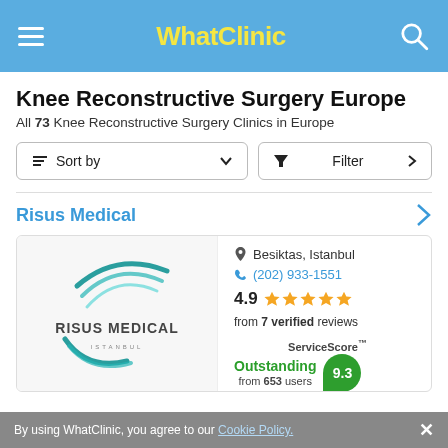WhatClinic
Knee Reconstructive Surgery Europe
All 73 Knee Reconstructive Surgery Clinics in Europe
Sort by | Filter
Risus Medical
[Figure (logo): Risus Medical Istanbul logo with circular arc design in teal/green]
Besiktas, Istanbul
(202) 933-1551
4.9 from 7 verified reviews
ServiceScore Outstanding 9.3 from 653 users
By using WhatClinic, you agree to our Cookie Policy.